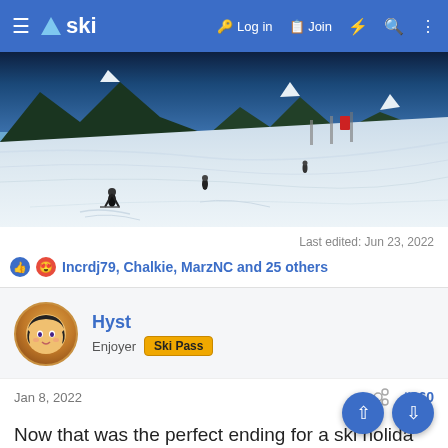≡ △ ski   🔑 Log in  📋 Join  ⚡ 🔍 ⋮
[Figure (photo): Wide panoramic photo of a ski slope with skiers on a snowy mountain, mountain peaks and blue sky in the background]
Last edited: Jun 23, 2022
👍 😍 Incrdj79, Chalkie, MarzNC and 25 others
Hyst
Enjoyer  Ski Pass
Jan 8, 2022   #260
Now that was the perfect ending for a ski holida… 🐸